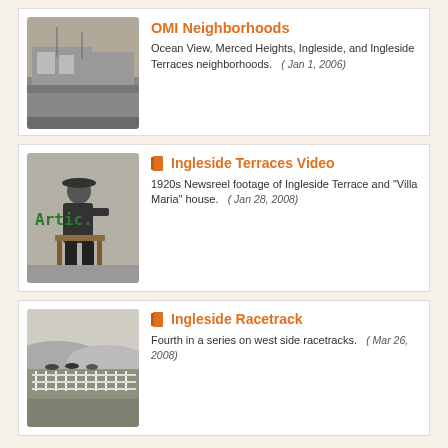[Figure (photo): Black and white historic street photo with storefronts]
OMI Neighborhoods
Ocean View, Merced Heights, Ingleside, and Ingleside Terraces neighborhoods.   ( Jan 1, 2006)
[Figure (photo): Black and white photo of man in hat sitting in chair outdoors with 'Artic' text overlay]
Ingleside Terraces Video
1920s Newsreel footage of Ingleside Terrace and "Villa Maria" house.   ( Jan 28, 2008)
[Figure (photo): Black and white photo of horse racing at Ingleside Racetrack]
Ingleside Racetrack
Fourth in a series on west side racetracks.   ( Mar 26, 2008)